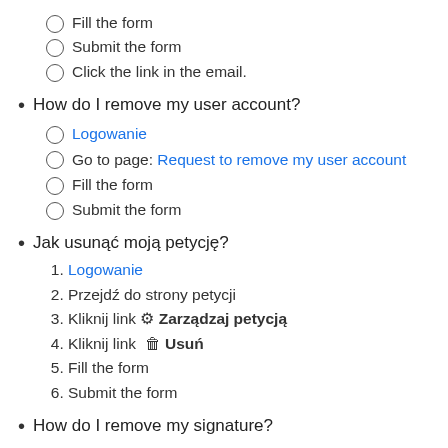Fill the form
Submit the form
Click the link in the email.
How do I remove my user account?
Logowanie
Go to page: Request to remove my user account
Fill the form
Submit the form
Jak usunąć moją petycję?
Logowanie
Przejdź do strony petycji
Kliknij link ⚙ Zarządzaj petycją
Kliknij link 🗑 Usuń
Fill the form
Submit the form
How do I remove my signature?